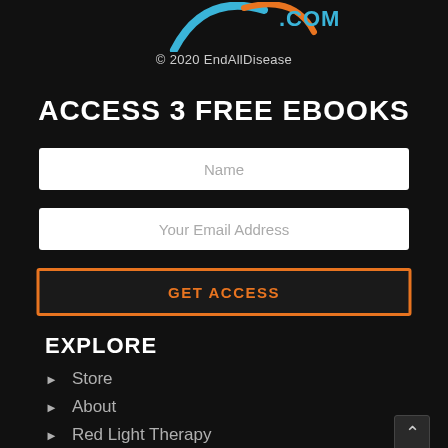[Figure (logo): Partial logo showing a blue and orange arc/swoosh with '.COM' text in cyan/teal]
© 2020 EndAllDisease
ACCESS 3 FREE EBOOKS
Name (input field placeholder)
Your Email Address (input field placeholder)
GET ACCESS (button)
EXPLORE
Store
About
Red Light Therapy